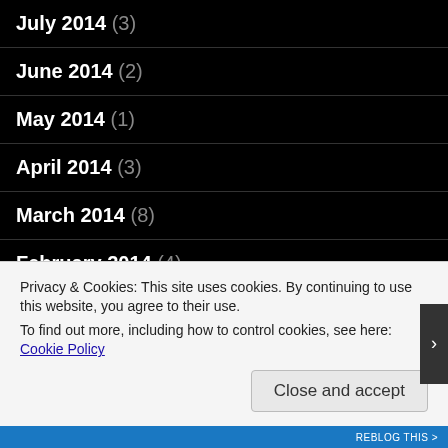July 2014 (3)
June 2014 (2)
May 2014 (1)
April 2014 (3)
March 2014 (8)
February 2014 (4)
January 2014 (5)
November 2013 (2)
October 2013 (2)
Privacy & Cookies: This site uses cookies. By continuing to use this website, you agree to their use.
To find out more, including how to control cookies, see here: Cookie Policy
Close and accept